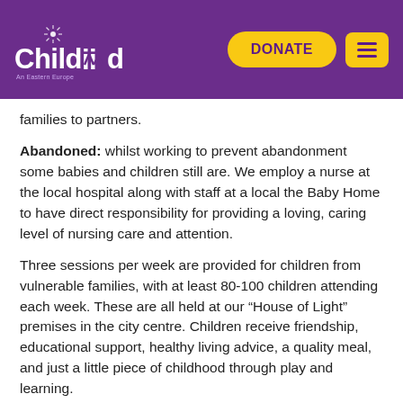Childaid — DONATE (navigation header)
families to partners.
Abandoned: whilst working to prevent abandonment some babies and children still are. We employ a nurse at the local hospital along with staff at a local the Baby Home to have direct responsibility for providing a loving, caring level of nursing care and attention.
Three sessions per week are provided for children from vulnerable families, with at least 80-100 children attending each week. These are all held at our “House of Light” premises in the city centre. Children receive friendship, educational support, healthy living advice, a quality meal, and just a little piece of childhood through play and learning.
Children also receive, many for the first time ever, the Good